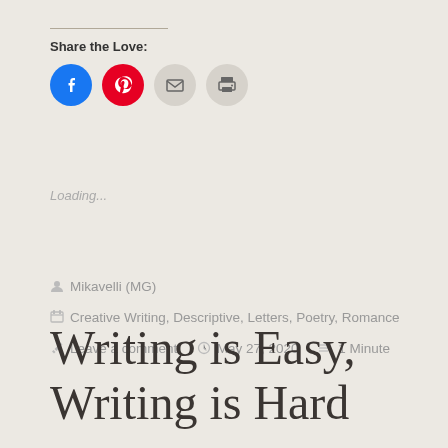Share the Love:
[Figure (infographic): Four circular share buttons: Facebook (blue), Pinterest (red), Email (gray), Print (gray)]
Loading...
Mikavelli (MG)
Creative Writing, Descriptive, Letters, Poetry, Romance
Leave a comment   May 27, 2020   1 Minute
Writing is Easy, Writing is Hard